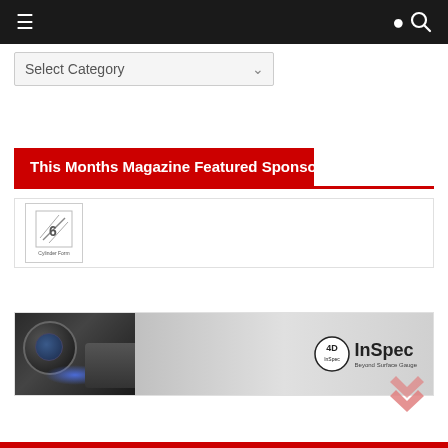Navigation bar with menu and search icons
Select Category
This Months Magazine Featured Sponsors
[Figure (logo): Cylinder Form logo — square bordered box with stylized diagonal slash/number design and 'Cylinder Form' text below]
[Figure (photo): 4D InSpec advertisement banner showing measuring device with blue light on dark background, gradient to light grey with 4D InSpec logo on right]
[Figure (other): Scroll-to-top chevron/arrow icon in salmon/coral color]